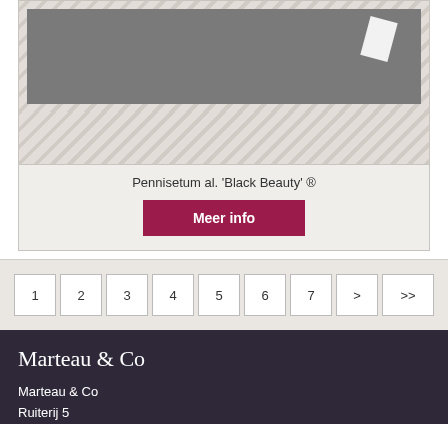[Figure (illustration): Product card with a placeholder image showing a grey box with a white rotated rectangle, set against a diagonal striped background pattern]
Pennisetum al. 'Black Beauty' ®
Meer info
1
2
3
4
5
6
7
>
>>
Marteau & Co
Marteau & Co
Ruiterij 5